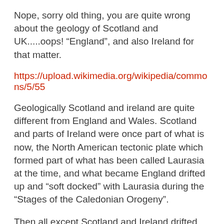Nope, sorry old thing, you are quite wrong about the geology of Scotland and UK.....oops! “England”, and also Ireland for that matter.
https://upload.wikimedia.org/wikipedia/commons/5/55
Geologically Scotland and ireland are quite different from England and Wales. Scotland and parts of Ireland were once part of what is now, the North American tectonic plate which formed part of what has been called Laurasia at the time, and what became England drifted up and “soft docked” with Laurasia during the “Stages of the Caledonian Orogeny”.
Then all except Scotland and Ireland drifted across to where the North American plate is now. Scotland is very slowly headed for Scandinavia. England meanwhile is tilting slowly south east,